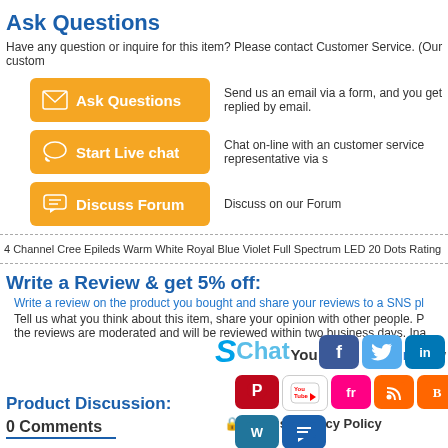Ask Questions
Have any question or inquire for this item? Please contact Customer Service. (Our custom
[Figure (infographic): Orange button labeled Ask Questions with envelope icon; description: Send us an email via a form, and you get replied by email.]
[Figure (infographic): Orange button labeled Start Live chat with chat bubble icon; description: Chat on-line with an customer service representative via s]
[Figure (infographic): Orange button labeled Discuss Forum with forum icon; description: Discuss on our Forum]
4 Channel Cree Epileds Warm White Royal Blue Violet Full Spectrum LED 20 Dots Rating
Write a Review & get 5% off:
Write a review on the product you bought and share your reviews to a SNS pl
Tell us what you think about this item, share your opinion with other people. P the reviews are moderated and will be reviewed within two business days. Ina
You must Sign in to w
[Figure (infographic): Social media icons overlay: Skype/Chat, Facebook, Twitter, LinkedIn, Google+, Pinterest, YouTube, Flickr, RSS, Blogger, StumbleUpon, WordPress, Chat icon]
Product Discussion:
0 Comments
Disqus' Privacy Policy